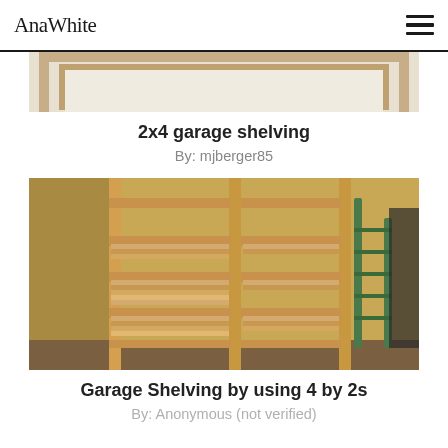AnaWhite
[Figure (photo): Partial view of a wood frame construction project, top portion of image showing light wood frame against white background.]
2x4 garage shelving
By: mjberger85
[Figure (photo): Garage shelving unit built from 4 by 2s lumber. Multiple shelves filled with long boards of wood. A green step ladder is visible on the right side. Walls are yellow/tan.]
Garage Shelving by using 4 by 2s
By: Anonymous (not verified)